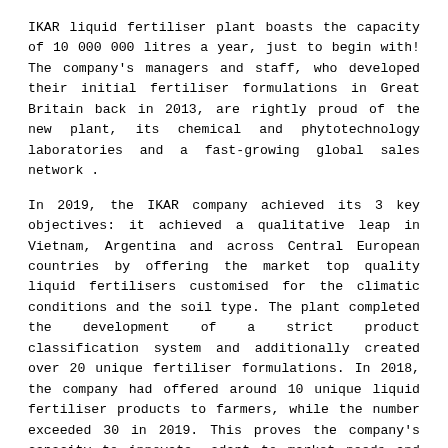IKAR liquid fertiliser plant boasts the capacity of 10 000 000 litres a year, just to begin with! The company's managers and staff, who developed their initial fertiliser formulations in Great Britain back in 2013, are rightly proud of the new plant, its chemical and phytotechnology laboratories and a fast-growing global sales network .
In 2019, the IKAR company achieved its 3 key objectives: it achieved a qualitative leap in Vietnam, Argentina and across Central European countries by offering the market top quality liquid fertilisers customised for the climatic conditions and the soil type. The plant completed the development of a strict product classification system and additionally created over 20 unique fertiliser formulations. In 2018, the company had offered around 10 unique liquid fertiliser products to farmers, while the number exceeded 30 in 2019. This proves the company's capacity to innovate, adapt to market needs and offer the most needed products.
The IKAR company developed a clear product classification system dividing its products into 5 groups/categories:
INTENSE: liquid compound fertiliser for intense plant growth that contains high doses of nutrients and...